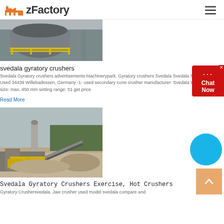zFactory
[Figure (photo): Industrial gyratory crusher machinery with large grey barrel and yellow railings]
svedala gyratory crushers
Svedala Gyratory crushers advertisements Machinerypark. Gyratory crushers Svedala Svedala S50 1985, Used 34439 Willebadessen, Germany -1- used secondary cone crusher manufacturer: Svedala type: S50 feed size: max. 450 mm setting range: 51 get price
Read More
[Figure (photo): Outdoor quarry or mining site with crusher machinery, yellow equipment, and grey sky]
Svedala Gyratory Crushers Exercise, Hot Crushers
Gyratory Crushersvedala. Jaw crusher used model svedala compare and